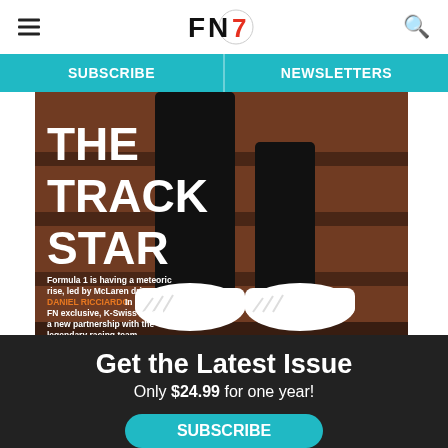FN7 logo with hamburger menu and search icon
SUBSCRIBE | NEWSLETTERS
[Figure (photo): Magazine cover showing white K-Swiss sneakers worn by a person in black pants sitting on bleachers, with text 'THE TRACK STAR' and a tagline about Formula 1, McLaren driver Daniel Ricciardo, and K-Swiss partnership]
Get the Latest Issue
Only $24.99 for one year!